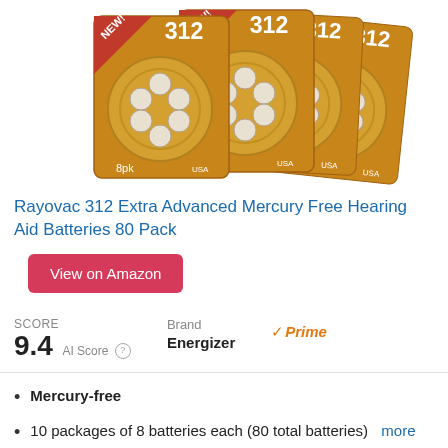[Figure (photo): Multiple Rayovac 312 Extra Advanced Mercury Free Hearing Aid Battery packs (8pk each) arranged in a fan layout on a white background. Packages are brown with circular battery trays visible.]
Rayovac 312 Extra Advanced Mercury Free Hearing Aid Batteries 80 Pack
View on Amazon
SCORE 9.4 AI Score | Brand Energizer | Prime
Mercury-free
10 packages of 8 batteries each (80 total batteries) more